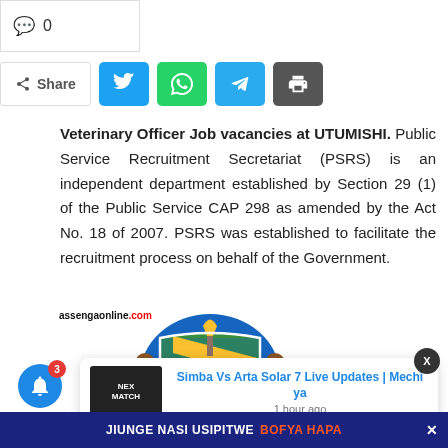0
Share
Veterinary Officer Job vacancies at UTUMISHI. Public Service Recruitment Secretariat (PSRS) is an independent department established by Section 29 (1) of the Public Service CAP 298 as amended by the Act No. 18 of 2007. PSRS was established to facilitate the recruitment process on behalf of the Government.
[Figure (illustration): Coat of arms / logo with assengaonline.com watermark]
Simba Vs Arta Solar 7 Live Updates | Mechi ya
1 hour ago
JIUNGE NASI USIPITWE BOFYA HAPA